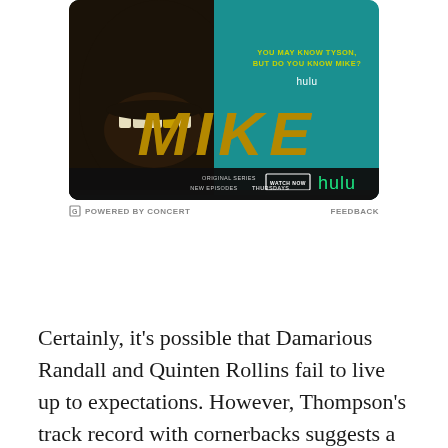[Figure (photo): Hulu advertisement for the series 'MIKE' about Mike Tyson. Shows a person with gold teeth laughing/shouting against a teal background. Text reads 'YOU MAY KNOW TYSON, BUT DO YOU KNOW MIKE?' with hulu logo and large gold 'MIKE' lettering. Bottom bar shows 'ORIGINAL SERIES NEW EPISODES THURSDAYS' with a 'WATCH NOW' button and hulu green logo. Below the ad: 'POWERED BY CONCERT' on the left and 'FEEDBACK' on the right.]
Certainly, it's possible that Damarious Randall and Quinten Rollins fail to live up to expectations. However, Thompson's track record with cornerbacks suggests a